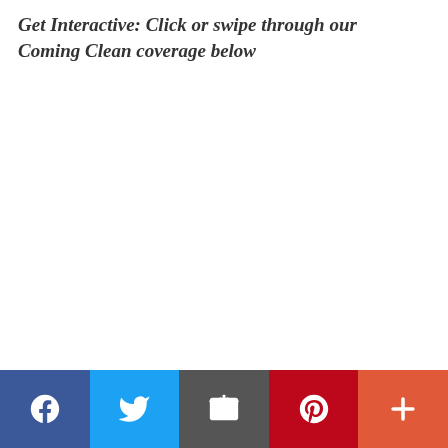Get Interactive: Click or swipe through our Coming Clean coverage below
[Figure (infographic): Social sharing bar with Facebook, Twitter, Email, Pinterest, and More buttons]